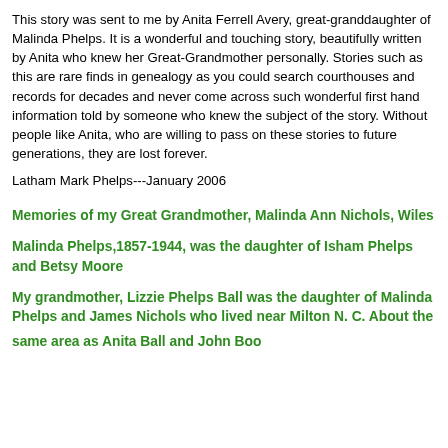This story was sent to me by Anita Ferrell Avery, great-granddaughter of Malinda Phelps. It is a wonderful and touching story, beautifully written by Anita who knew her Great-Grandmother personally. Stories such as this are rare finds in genealogy as you could search courthouses and records for decades and never come across such wonderful first hand information told by someone who knew the subject of the story. Without people like Anita, who are willing to pass on these stories to future generations, they are lost forever.
Latham Mark Phelps---January 2006
Memories of my Great Grandmother, Malinda Ann Nichols, Wiles
Malinda Phelps,1857-1944, was the daughter of Isham Phelps and Betsy Moore
My grandmother, Lizzie Phelps Ball was the daughter of Malinda Phelps and James Nichols who lived near Milton N. C. About the same area as Anita Ball and John Boone.